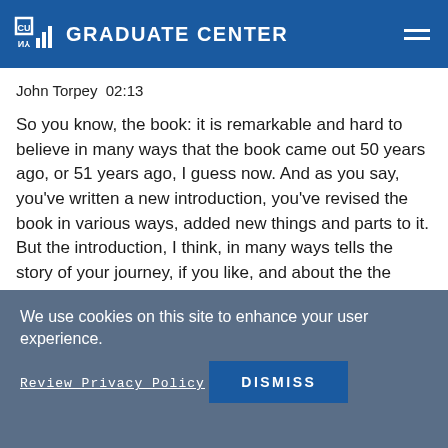CUNY GRADUATE CENTER
John Torpey  02:13
So you know, the book: it is remarkable and hard to believe in many ways that the book came out 50 years ago, or 51 years ago, I guess now. And as you say, you've written a new introduction, you've revised the book in various ways, added new things and parts to it. But the introduction, I think, in many ways tells the story of your journey, if you like, and about the the ways you delve into the connections that I was talking about in my introduction
We use cookies on this site to enhance your user experience.
Review Privacy Policy
DISMISS